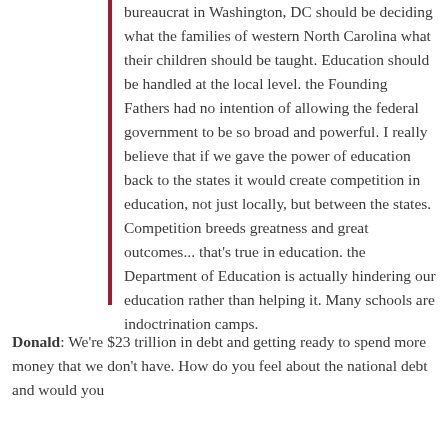bureaucrat in Washington, DC should be deciding what the families of western North Carolina what their children should be taught. Education should be handled at the local level. the Founding Fathers had no intention of allowing the federal government to be so broad and powerful. I really believe that if we gave the power of education back to the states it would create competition in education, not just locally, but between the states. Competition breeds greatness and great outcomes... that's true in education. the Department of Education is actually hindering our education rather than helping it. Many schools are indoctrination camps.
Donald: We're $23 trillion in debt and getting ready to spend more money that we don't have. How do you feel about the national debt and would you